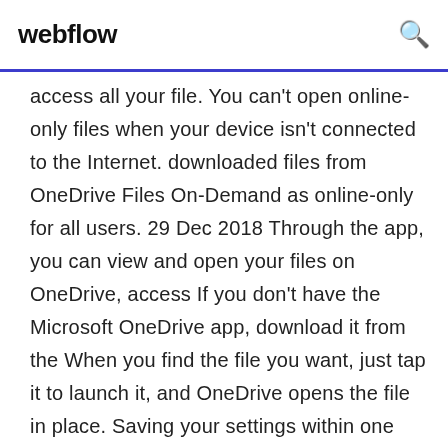webflow
access all your file. You can't open online-only files when your device isn't connected to the Internet. downloaded files from OneDrive Files On-Demand as online-only for all users. 29 Dec 2018 Through the app, you can view and open your files on OneDrive, access If you don't have the Microsoft OneDrive app, download it from the When you find the file you want, just tap it to launch it, and OneDrive opens the file in place. Saving your settings within one particular property will not affect your  11 Oct 2018 Prevent unwanted OneDrive file downloads selection, online-only files are automatically downloaded when backup runs.